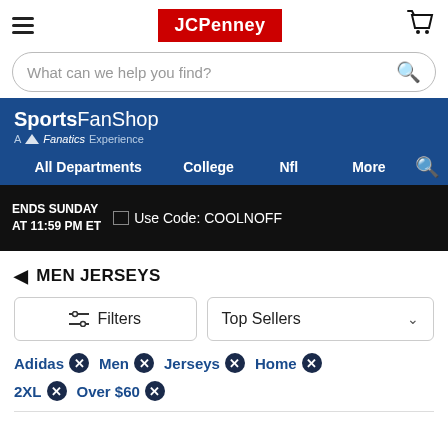[Figure (screenshot): JCPenney website header with hamburger menu, JCPenney logo in red, and cart icon]
What can we help you find?
SportsFanShop - A Fanatics Experience
All Departments   College   Nfl   More
Use Code: COOLOFF   ENDS SUNDAY AT 11:59 PM ET
MEN JERSEYS
Filters   Top Sellers
Adidas ✕
Men ✕
Jerseys ✕
Home ✕
2XL ✕
Over $60 ✕